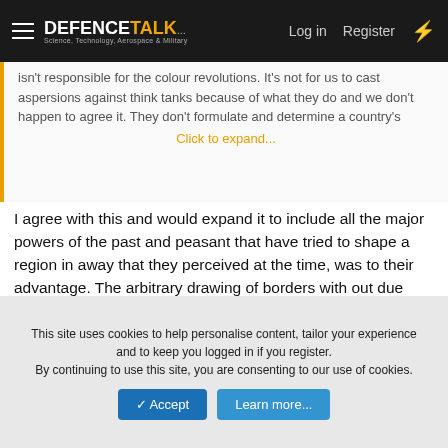DEFENCETALK — Log in | Register
isn't responsible for the colour revolutions. It's not for us to cast aspersions against think tanks because of what they do and we don't happen to agree it. They don't formulate and determine a country's
Click to expand...
I agree with this and would expand it to include all the major powers of the past and peasant that have tried to shape a region in away that they perceived at the time, was to their advantage. The arbitrary drawing of borders with out due regard to the natural ethnic or religious or cultural groupings of an area, the wealth stripping of countries or areas over long periods of time and the support of despotic governments or rulers as they were seen as in the best interests of the supporting countries interest with no regard to what was in the best interest of the people of that country. This has gone on for millennia and no country that was a significant power whether on a regional or
This site uses cookies to help personalise content, tailor your experience and to keep you logged in if you register.
By continuing to use this site, you are consenting to our use of cookies.